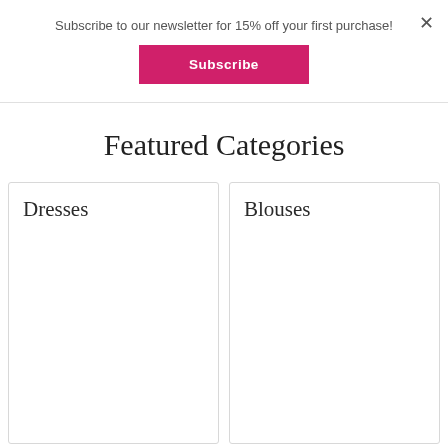Subscribe to our newsletter for 15% off your first purchase!
Subscribe
Featured Categories
Dresses
Blouses